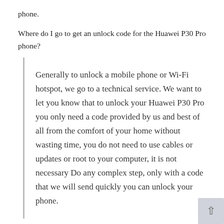phone.
Where do I go to get an unlock code for the Huawei P30 Pro phone?
Generally to unlock a mobile phone or Wi-Fi hotspot, we go to a technical service. We want to let you know that to unlock your Huawei P30 Pro you only need a code provided by us and best of all from the comfort of your home without wasting time, you do not need to use cables or updates or root to your computer, it is not necessary Do any complex step, only with a code that we will send quickly you can unlock your phone.
Is it a safe and reliable process?
Yes, in addition to the great benefits obtained by